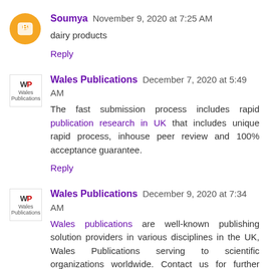Soumya November 9, 2020 at 7:25 AM
dairy products
Reply
Wales Publications December 7, 2020 at 5:49 AM
The fast submission process includes rapid publication research in UK that includes unique rapid process, inhouse peer review and 100% acceptance guarantee.
Reply
Wales Publications December 9, 2020 at 7:34 AM
Wales publications are well-known publishing solution providers in various disciplines in the UK, Wales Publications serving to scientific organizations worldwide. Contact us for further information and know our best services and deals to achieve your goal.